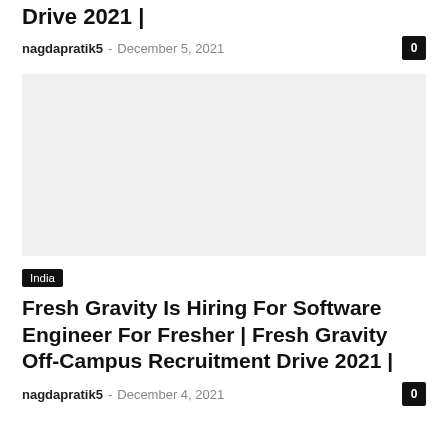Drive 2021 |
nagdapratik5 - December 5, 2021
[Figure (photo): Blank/white image placeholder for article thumbnail]
India
Fresh Gravity Is Hiring For Software Engineer For Fresher | Fresh Gravity Off-Campus Recruitment Drive 2021 |
nagdapratik5 - December 4, 2021